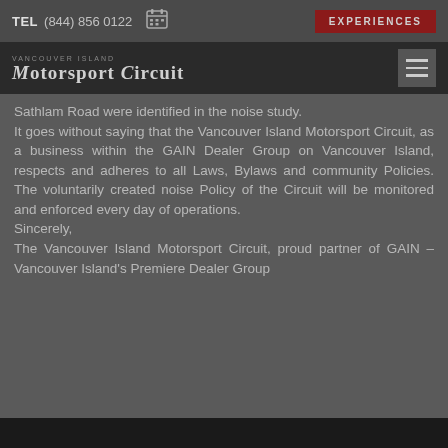TEL (844) 856 0122 EXPERIENCES
VANCOUVER ISLAND Motorsport Circuit
Sathlam Road were identified in the noise study.
It goes without saying that the Vancouver Island Motorsport Circuit, as a business within the GAIN Dealer Group on Vancouver Island, respects and adheres to all Laws, Bylaws and community Policies. The voluntarily created noise Policy of the Circuit will be monitored and enforced every day of operations.
Sincerely,
The Vancouver Island Motorsport Circuit, proud partner of GAIN – Vancouver Island's Premiere Dealer Group